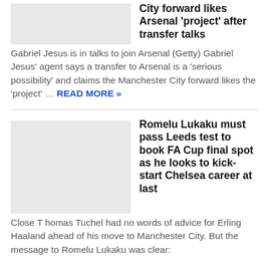[Figure (photo): Placeholder image for Gabriel Jesus / Arsenal transfer article]
City forward likes Arsenal 'project' after transfer talks
Gabriel Jesus is in talks to join Arsenal (Getty) Gabriel Jesus' agent says a transfer to Arsenal is a 'serious possibility' and claims the Manchester City forward likes the 'project' ... READ MORE »
[Figure (photo): Placeholder image for Romelu Lukaku / Chelsea FA Cup article]
Romelu Lukaku must pass Leeds test to book FA Cup final spot as he looks to kick-start Chelsea career at last
Close T homas Tuchel had no words of advice for Erling Haaland ahead of his move to Manchester City. But the message to Romelu Lukaku was clear: